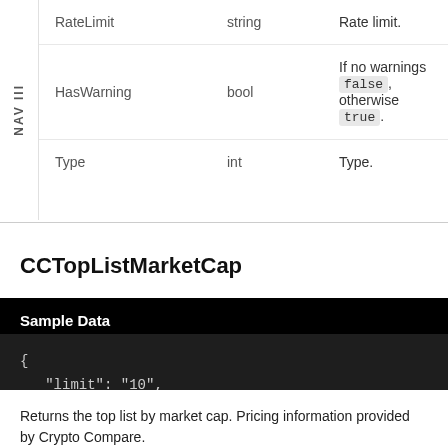| Field | Type | Description |
| --- | --- | --- |
| RateLimit | string | Rate limit. |
| HasWarning | bool | If no warnings false, otherwise true. |
| Type | int | Type. |
CCTopListMarketCap
Sample Data
{
   "limit": "10",
   "currency": "USD"
}
Returns the top list by market cap. Pricing information provided by Crypto Compare.